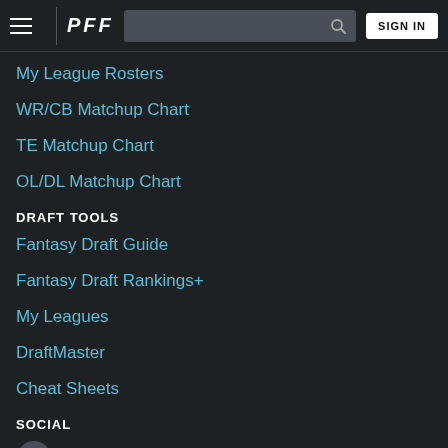PFF — SIGN IN
My League Rosters
WR/CB Matchup Chart
TE Matchup Chart
OL/DL Matchup Chart
DRAFT TOOLS
Fantasy Draft Guide
Fantasy Draft Rankings+
My Leagues
DraftMaster
Cheat Sheets
SOCIAL
@PFF_Fantasy
Fantasy Facebook
Fantasy Instagram